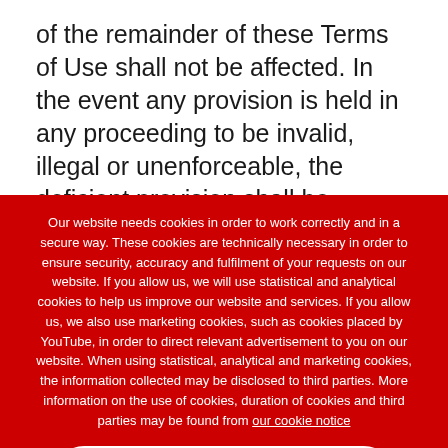of the remainder of these Terms of Use shall not be affected. In the event any provision is held in any proceeding to be invalid, illegal or unenforceable, the deficient provision shall be replaced with a new provision permitted by applicable law and having an
Our website needs cookies in order to work correctly and in a secure way. These cookies are technically necessary in order to ensure security, accuracy and fulfilment of your requests on our website. If you allow us, we will use statistical and analytical cookies to help us improve our website and services. If you allow us, we also use marketing cookies, such as cookies placed by YouTube, in order to direct relevant advertisement to you on our website. When using statistical, analytical and marketing cookies, the information collected may be disclosed to third parties. More information on the use of cookies, duration of cookies and third parties may be found from our cookie notice
I accept only technically necessary cookies
I accept all cookies